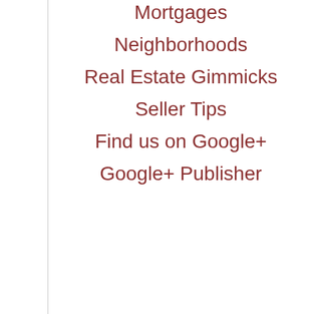Mortgages
Neighborhoods
Real Estate Gimmicks
Seller Tips
Find us on Google+
Google+ Publisher